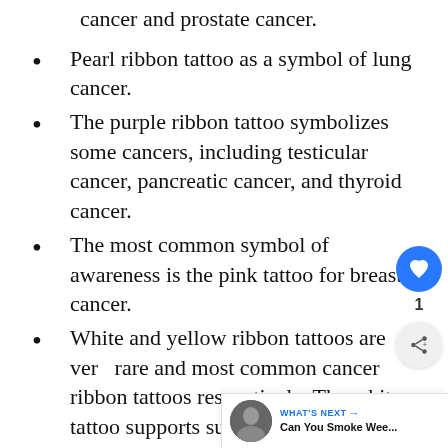cancer and prostate cancer.
Pearl ribbon tattoo as a symbol of lung cancer.
The purple ribbon tattoo symbolizes some cancers, including testicular cancer, pancreatic cancer, and thyroid cancer.
The most common symbol of awareness is the pink tattoo for breast cancer.
White and yellow ribbon tattoos are very rare and most common cancer ribbon tattoos respectively. The white tattoo supports survivors of bone cancer, and the yellow tattoo symbolizes bladder cancer.